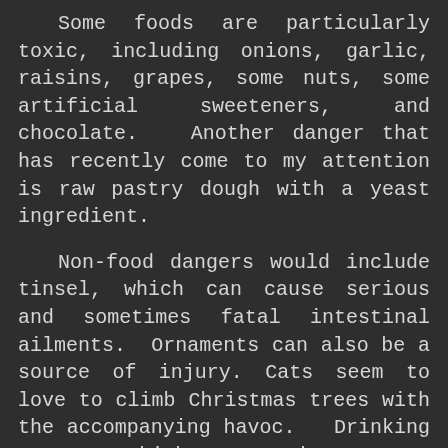Some foods are particularly toxic, including onions, garlic, raisins, grapes, some nuts, some artificial sweeteners, and chocolate. Another danger that has recently come to my attention is raw pastry dough with a yeast ingredient.
Non-food dangers would include tinsel, which can cause serious and sometimes fatal intestinal ailments. Ornaments can also be a source of injury. Cats seem to love to climb Christmas trees with the accompanying havoc. Drinking water which contains tree freshener chemicals from a Christmas tree base can be another source of problems. Celebratory beverages left within a pet's reach can have disastrous results!
Electronics can also post dangers to your pets. Extension cords for Christmas trees or outdoor decorations should be kept well out of